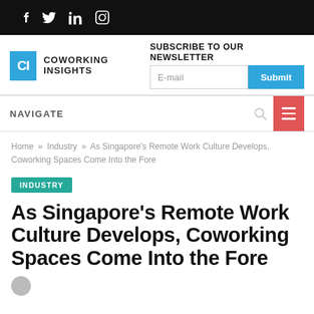Social media icons: f, Twitter, LinkedIn, Instagram
[Figure (logo): Coworking Insights logo with CI in blue box]
SUBSCRIBE TO OUR NEWSLETTER
E-mail  Submit
NAVIGATE
Home » Industry » As Singapore's Remote Work Culture Develops, Coworking Spaces Come Into the Fore
INDUSTRY
As Singapore's Remote Work Culture Develops, Coworking Spaces Come Into the Fore